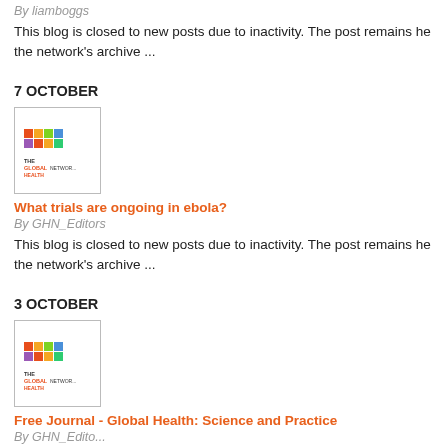By liamboggs
This blog is closed to new posts due to inactivity. The post remains here as part of the network's archive ...
7 OCTOBER
[Figure (logo): The Global Health Network logo thumbnail]
What trials are ongoing in ebola?
By GHN_Editors
This blog is closed to new posts due to inactivity. The post remains here as part of the network's archive ...
3 OCTOBER
[Figure (logo): The Global Health Network logo thumbnail]
Free Journal - Global Health: Science and Practice
By GHN_Editors